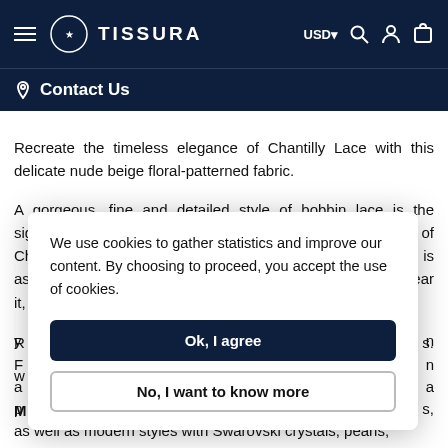TISSURA
Contact Us
Recreate the timeless elegance of Chantilly Lace with this delicate nude beige floral-patterned fabric. A gorgeous, fine and detailed style of bobbin lace is the signature feature of this fabric, named after the French city of Chantilly. This type of lace is often seen on catwalks and is associated with luxury and high social status. When you wear it, y... w... M...
We use cookies to gather statistics and improve our content. By choosing to proceed, you accept the use of cookies.
Ok, I agree
No, I want to know more
R... F... a... p... as well as modern styles with Swarovski crystals, pearls,